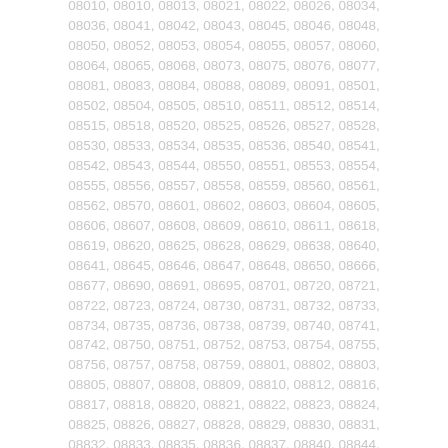08010, 08010, 08013, 08021, 08022, 08026, 08034, 08036, 08041, 08042, 08043, 08045, 08046, 08048, 08050, 08052, 08053, 08054, 08055, 08057, 08060, 08064, 08065, 08068, 08073, 08075, 08076, 08077, 08081, 08083, 08084, 08088, 08089, 08091, 08501, 08502, 08504, 08505, 08510, 08511, 08512, 08514, 08515, 08518, 08520, 08525, 08526, 08527, 08528, 08530, 08533, 08534, 08535, 08536, 08540, 08541, 08542, 08543, 08544, 08550, 08551, 08553, 08554, 08555, 08556, 08557, 08558, 08559, 08560, 08561, 08562, 08570, 08601, 08602, 08603, 08604, 08605, 08606, 08607, 08608, 08609, 08610, 08611, 08618, 08619, 08620, 08625, 08628, 08629, 08638, 08640, 08641, 08645, 08646, 08647, 08648, 08650, 08666, 08677, 08690, 08691, 08695, 08701, 08720, 08721, 08722, 08723, 08724, 08730, 08731, 08732, 08733, 08734, 08735, 08736, 08738, 08739, 08740, 08741, 08742, 08750, 08751, 08752, 08753, 08754, 08755, 08756, 08757, 08758, 08759, 08801, 08802, 08803, 08805, 08807, 08808, 08809, 08810, 08812, 08816, 08817, 08818, 08820, 08821, 08822, 08823, 08824, 08825, 08826, 08827, 08828, 08829, 08830, 08831, 08832, 08833, 08835, 08836, 08837, 08840, 08844